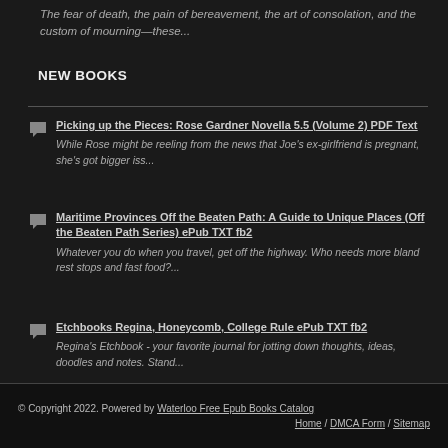The fear of death, the pain of bereavement, the art of consolation, and the custom of mourning—these...
NEW BOOKS
Picking up the Pieces: Rose Gardner Novella 5.5 (Volume 2) PDF Text — While Rose might be reeling from the news that Joe's ex-girlfriend is pregnant, she's got bigger iss...
Maritime Provinces Off the Beaten Path: A Guide to Unique Places (Off the Beaten Path Series) ePub TXT fb2 — Whatever you do when you travel, get off the highway. Who needs more bland rest stops and fast food?...
Etchbooks Regina, Honeycomb, College Rule ePub TXT fb2 — Regina's Etchbook - your favorite journal for jotting down thoughts, ideas, doodles and notes. Stand...
© Copyright 2022. Powered by Waterloo Free Epub Books Catalog — Home / DMCA Form / Sitemap